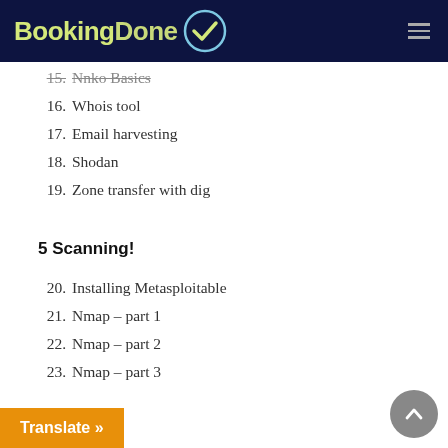BookingDone
15. Nnko Basics
16. Whois tool
17. Email harvesting
18. Shodan
19. Zone transfer with dig
5 Scanning!
20. Installing Metasploitable
21. Nmap – part 1
22. Nmap – part 2
23. Nmap – part 3